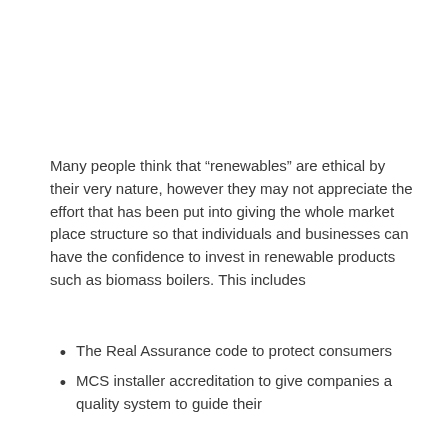Many people think that “renewables” are ethical by their very nature, however they may not appreciate the effort that has been put into giving the whole market place structure so that individuals and businesses can have the confidence to invest in renewable products such as biomass boilers. This includes
The Real Assurance code to protect consumers
MCS installer accreditation to give companies a quality system to guide their